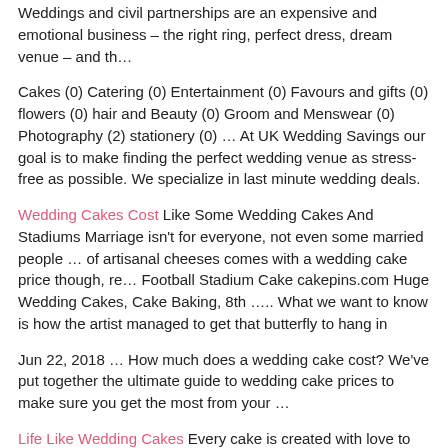Weddings and civil partnerships are an expensive and emotional business – the right ring, perfect dress, dream venue – and th…
Cakes (0) Catering (0) Entertainment (0) Favours and gifts (0) flowers (0) hair and Beauty (0) Groom and Menswear (0) Photography (2) stationery (0) … At UK Wedding Savings our goal is to make finding the perfect wedding venue as stress-free as possible. We specialize in last minute wedding deals.
Wedding Cakes Cost Like Some Wedding Cakes And Stadiums Marriage isn't for everyone, not even some married people … of artisanal cheeses comes with a wedding cake price though, re… Football Stadium Cake cakepins.com Huge Wedding Cakes, Cake Baking, 8th ….. What we want to know is how the artist managed to get that butterfly to hang in
Jun 22, 2018 … How much does a wedding cake cost? We've put together the ultimate guide to wedding cake prices to make sure you get the most from your …
Life Like Wedding Cakes Every cake is created with love to give you a one of a kind delicious work of art. We look forward to adding some sweetness to your day! There's No Life Like a … BEAUTIFUL DESSERTS THAT ARE IRRESISTIBLY DELICIOUS. That is what we strive for at Celebrating Life Cakes, making our